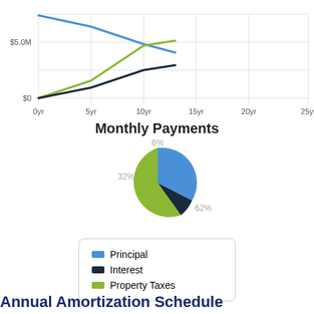[Figure (line-chart): ]
Monthly Payments
[Figure (pie-chart): Monthly Payments]
[Figure (other): Legend box showing Principal (blue), Interest (dark navy), Property Taxes (green)]
Annual Amortization Schedule